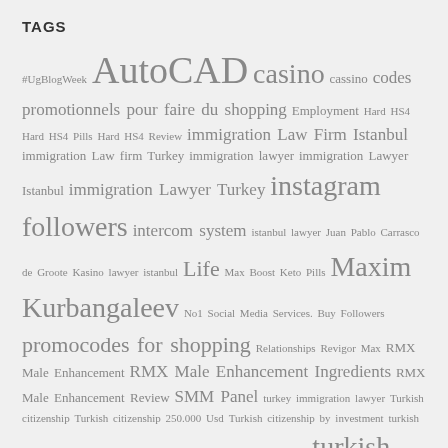TAGS
#UgBlogWeek AutoCAD casino cassino codes promotionnels pour faire du shopping Employment Hard HS4 Hard HS4 Pills Hard HS4 Review immigration Law Firm Istanbul immigration Law firm Turkey immigration lawyer immigration Lawyer Istanbul immigration Lawyer Turkey instagram followers intercom system istanbul lawyer Juan Pablo Carrasco de Groote Kasino lawyer istanbul Life Max Boost Keto Pills Maxim Kurbangaleev No1 Social Media Services. Buy Followers promocodes for shopping Relationships Revigor Max RMX Male Enhancement RMX Male Enhancement Ingredients RMX Male Enhancement Review SMM Panel turkey immigration lawyer Turkish citizenship Turkish citizenship 250.000 Usd Turkish citizenship by investment turkish citizenship immigration lawyer Turkish Citizenship Law Firm turkish citizenship lawyer turkish Immigration Law Firm turkish Immigration Lawyer turkish lawyer Uganda wardrobes XR Massive ออออออออ